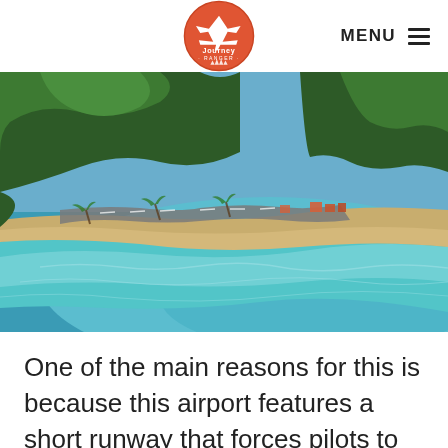Journey Ranger — MENU
[Figure (photo): Aerial photograph of a coastal beach with turquoise water, sandy shore, tropical jungle/forest, and an airport runway visible along the tree line.]
One of the main reasons for this is because this airport features a short runway that forces pilots to avoid the mountains and the ocean, while also